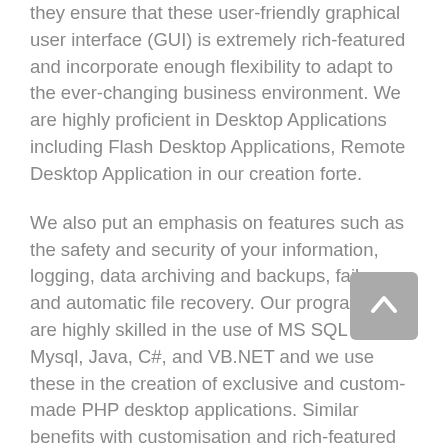they ensure that these user-friendly graphical user interface (GUI) is extremely rich-featured and incorporate enough flexibility to adapt to the ever-changing business environment. We are highly proficient in Desktop Applications including Flash Desktop Applications, Remote Desktop Application in our creation forte.
We also put an emphasis on features such as the safety and security of your information, logging, data archiving and backups, fail-over, and automatic file recovery. Our programmers are highly skilled in the use of MS SQL server, Mysql, Java, C#, and VB.NET and we use these in the creation of exclusive and custom-made PHP desktop applications. Similar benefits with customisation and rich-featured applications can be realised by our team of in-house professionals not only in small specific areas, but also in in-integrated...